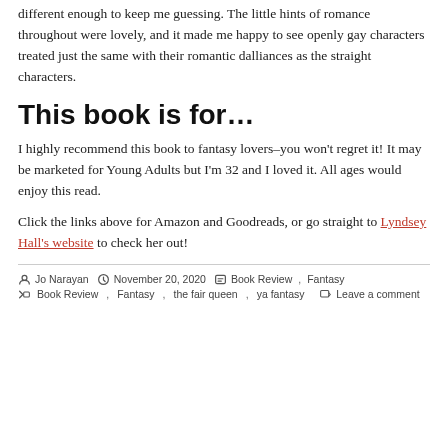different enough to keep me guessing. The little hints of romance throughout were lovely, and it made me happy to see openly gay characters treated just the same with their romantic dalliances as the straight characters.
This book is for…
I highly recommend this book to fantasy lovers–you won't regret it! It may be marketed for Young Adults but I'm 32 and I loved it. All ages would enjoy this read.
Click the links above for Amazon and Goodreads, or go straight to Lyndsey Hall's website to check her out!
Jo Narayan  November 20, 2020  Book Review, Fantasy  Book Review, Fantasy, the fair queen, ya fantasy  Leave a comment